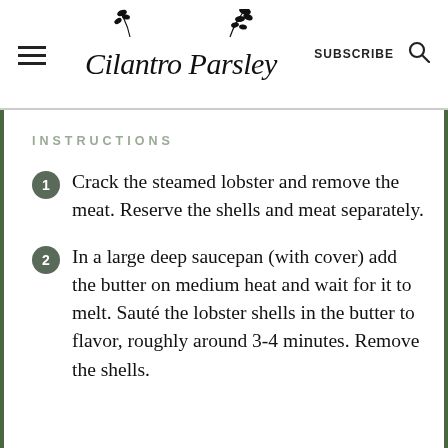Cilantro Parsley | SUBSCRIBE
INSTRUCTIONS
Crack the steamed lobster and remove the meat. Reserve the shells and meat separately.
In a large deep saucepan (with cover) add the butter on medium heat and wait for it to melt. Sauté the lobster shells in the butter to flavor, roughly around 3-4 minutes. Remove the shells.